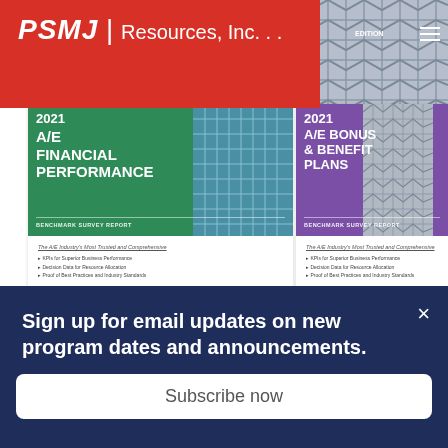PSMJ Resources, Inc.
[Figure (illustration): Two 2021 PSMJ benchmark survey report covers side by side. Left cover: green with title '2021 A/E Financial Performance Benchmark Survey Report'. Right cover: purple with title '2021 A/E Bonus & Benefit Plans Benchmark Survey Report'. Both show building images and PSMJ Resources, Inc. logos.]
Sign up for email updates on new program dates and announcements.
Subscribe now